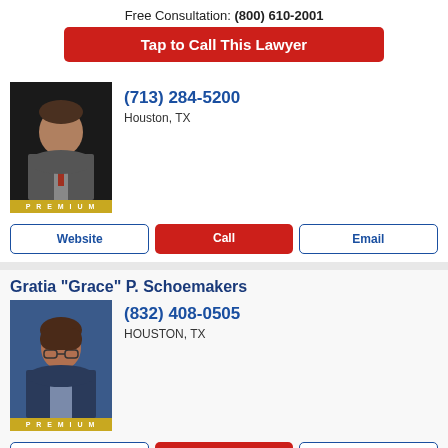Free Consultation: (800) 610-2001
Tap to Call This Lawyer
(713) 284-5200
Houston, TX
[Figure (photo): Professional headshot of male lawyer in gray suit with red tie, dark background, PREMIUM badge below]
Website | Call | Email
Gratia "Grace" P. Schoemakers
(832) 408-0505
HOUSTON, TX
[Figure (photo): Professional headshot of female lawyer with short brown hair, glasses, blue background, PREMIUM badge below]
Website | Call | Email